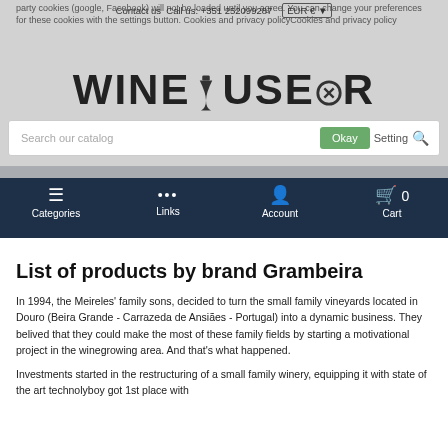party cookies (google, Facebook) will not be loaded until you agree. You can change your preferences for these cookies with the settings button. Cookies and privacy policyCookies and privacy policy
Contact us Call us: +351 252099287  EUR €
WINEHOUSEPOR TUGAL
Search our catalog  Okay  Setting
☰ Categories  ··· Links  Account  Cart 0
List of products by brand Grambeira
In 1994, the Meireles' family sons, decided to turn the small family vineyards located in Douro (Beira Grande - Carrazeda de Ansiães - Portugal) into a dynamic business. They belived that they could make the most of these family fields by starting a motivational project in the winegrowing area. And that's what happened.
Investments started in the restructuring of a small family winery, equipping it with state of the art technolyboy got 1st place with